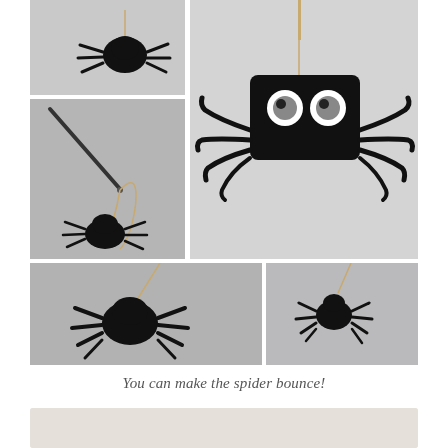[Figure (photo): Top-left small photo showing a black spider craft figure silhouette against a light grey background]
[Figure (photo): Middle-left photo showing a needle threading a rubber band string through a black spider craft, with the needle going through the body]
[Figure (photo): Large right photo showing a close-up of a black egg-carton spider craft with googly eyes and black pipe cleaner legs, hanging from a toothpick on a string]
[Figure (photo): Bottom-left wider photo showing the completed black spider craft hanging and bouncing on its rubber band string from an angle]
[Figure (photo): Bottom-right photo showing the spider craft hanging on string from a different angle, smaller view]
You can make the spider bounce!
[Figure (photo): Partial bottom image, light beige/tan background, content cut off]